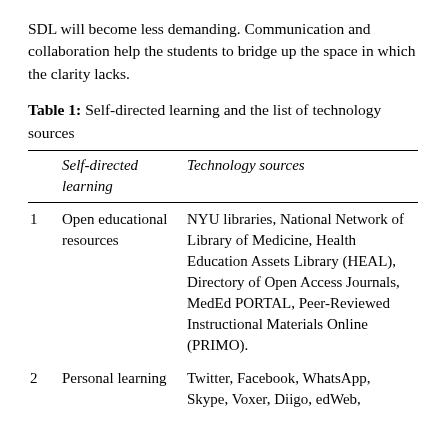SDL will become less demanding. Communication and collaboration help the students to bridge up the space in which the clarity lacks.
Table 1: Self-directed learning and the list of technology sources
|  | Self-directed learning | Technology sources |
| --- | --- | --- |
| 1 | Open educational resources | NYU libraries, National Network of Library of Medicine, Health Education Assets Library (HEAL), Directory of Open Access Journals, MedEd PORTAL, Peer-Reviewed Instructional Materials Online (PRIMO). |
| 2 | Personal learning | Twitter, Facebook, WhatsApp, Skype, Voxer, Diigo, edWeb, |